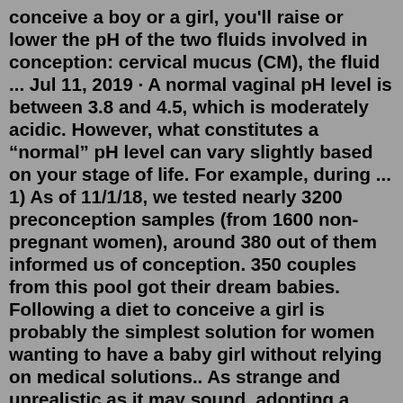conceive a boy or a girl, you'll raise or lower the pH of the two fluids involved in conception: cervical mucus (CM), the fluid ... Jul 11, 2019 · A normal vaginal pH level is between 3.8 and 4.5, which is moderately acidic. However, what constitutes a "normal" pH level can vary slightly based on your stage of life. For example, during ... 1) As of 11/1/18, we tested nearly 3200 preconception samples (from 1600 non-pregnant women), around 380 out of them informed us of conception. 350 couples from this pool got their dream babies. Following a diet to conceive a girl is probably the simplest solution for women wanting to have a baby girl without relying on medical solutions.. As strange and unrealistic as it may sound, adopting a certain meal plan to conceive a girl can be even more successful than ovulation tracking procedures as this method works by influencing the pH inside the vagina and womb, making it easier for ... pH has long been suspected to influence the conception of a boy or a girl -- it plays a crucial role in gender swaying, because